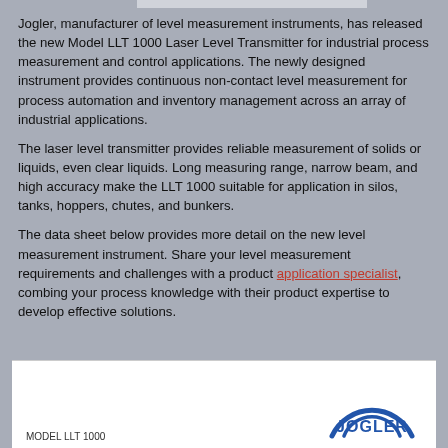Jogler, manufacturer of level measurement instruments, has released the new Model LLT 1000 Laser Level Transmitter for industrial process measurement and control applications. The newly designed instrument provides continuous non-contact level measurement for process automation and inventory management across an array of industrial applications.
The laser level transmitter provides reliable measurement of solids or liquids, even clear liquids. Long measuring range, narrow beam, and high accuracy make the LLT 1000 suitable for application in silos, tanks, hoppers, chutes, and bunkers.
The data sheet below provides more detail on the new level measurement instrument. Share your level measurement requirements and challenges with a product application specialist, combing your process knowledge with their product expertise to develop effective solutions.
[Figure (logo): Jogler company logo with blue arc design and MODEL LLT 1000 text label at bottom left of white panel]